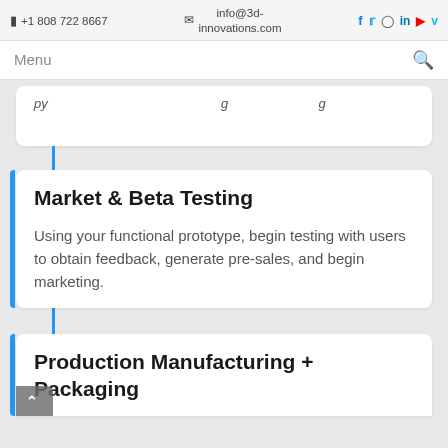+1 808 722 8667  info@3d-innovations.com  [social icons: Facebook, Twitter, Instagram, LinkedIn, YouTube, Vimeo]
Menu [search icon]
[truncated text above card]
Market & Beta Testing
Using your functional prototype, begin testing with users to obtain feedback, generate pre-sales, and begin marketing.
Production Manufacturing + Packaging